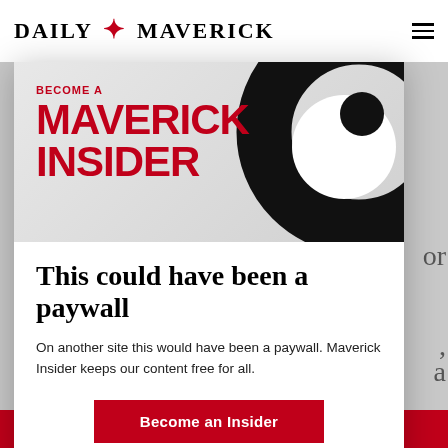DAILY MAVERICK
[Figure (illustration): Maverick Insider promotional banner with 'BECOME A MAVERICK INSIDER' text in red on grey background with black swirl graphic]
This could have been a paywall
On another site this would have been a paywall. Maverick Insider keeps our content free for all.
Become an Insider
dpd laser  Find out more